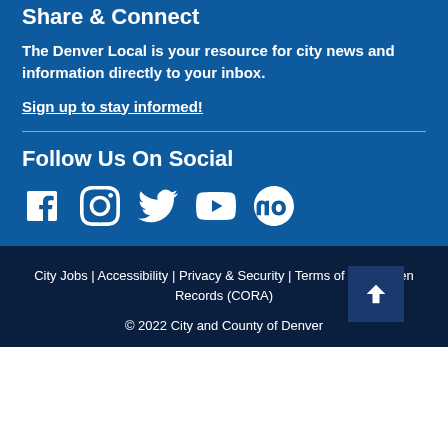Share & Connect
The Denver Local is your resource for city news and information directly to your inbox.
Sign up to stay informed!
Follow Us On Social
[Figure (illustration): Social media icons: Facebook, Instagram, Twitter, YouTube, Nextdoor]
City Jobs | Accessibility | Privacy & Security | Terms of Use | Open Records (CORA)
© 2022 City and County of Denver